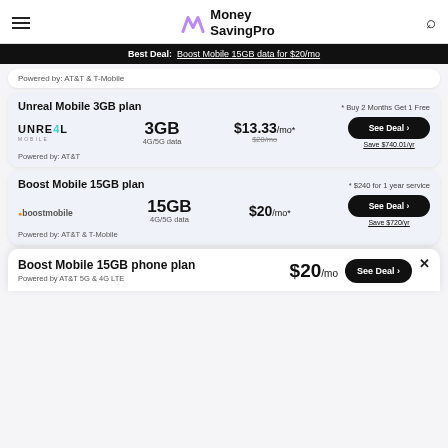Money SavingPro
Best Deal: Boost Mobile 15GB data for $20/mo
Powered by: AT&T & T-Mobile
Unreal Mobile 3GB plan
* Buy 2 Months Get 1 Free
3GB 4G/5G data $13.33/mo* $20/mo Save $740.01/yr
Powered by: AT&T
Boost Mobile 15GB plan
* $240 for 1 year service
15GB 4G/5G data $20/mo* Save $720/yr
Powered by: AT&T & T-Mobile
Boost Mobile 15GB phone plan $20/mo Powered by AT&T 5G & 4G LTE See Deal